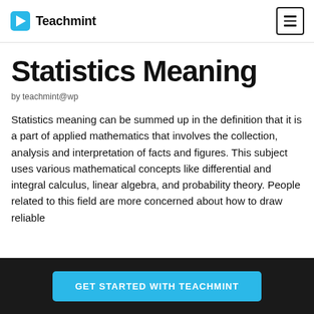Teachmint
Statistics Meaning
by teachmint@wp
Statistics meaning can be summed up in the definition that it is a part of applied mathematics that involves the collection, analysis and interpretation of facts and figures. This subject uses various mathematical concepts like differential and integral calculus, linear algebra, and probability theory. People related to this field are more concerned about how to draw reliable
GET STARTED WITH TEACHMINT